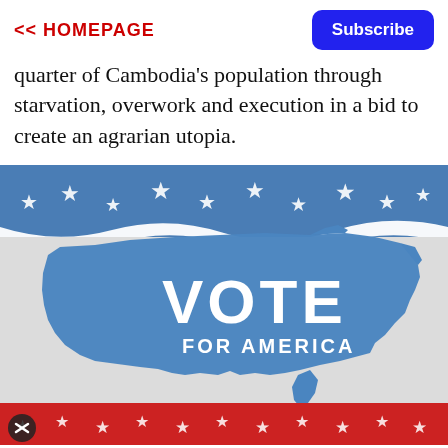<< HOMEPAGE
quarter of Cambodia's population through starvation, overwork and execution in a bid to create an agrarian utopia.
[Figure (photo): Patriotic American flag with a blue USA map shape overlaid, text reading VOTE FOR AMERICA in white, with stars along the top blue stripe and red stripe at the bottom with stars.]